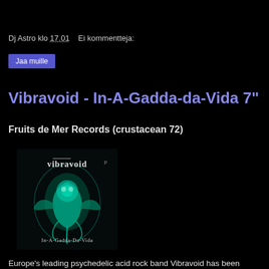Dj Astro klo 17.01    Ei kommentteja:
Jaa muille
Vibravoid - In-A-Gadda-da-Vida 7"
Fruits de Mer Records (crustacean 72)
[Figure (photo): Album cover for Vibravoid - In-A-Gadda-Da-Vida showing teal/green psychedelic artwork with 'vibravoid' text at top and 'In-A-Gadda-Da-Vida' at bottom on dark background]
Europe's leading psychedelic acid rock band Vibravoid has been